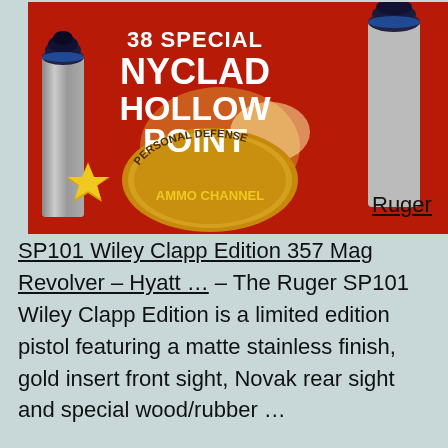[Figure (photo): Product photo of 38 Special Nyclad Hollow Point ammunition cartridges with text overlay showing '38 SPECIAL NYCLAD HOLLOW POINT' in white bold text on red background, with a gold medallion reading 'PERSONAL DEFENSE AMMO CHANNEL' and a gold star. Two bullet cartridges visible. Alongside text 'Ruger' with underline.]
Ruger SP101 Wiley Clapp Edition 357 Mag Revolver – Hyatt ... – The Ruger SP101 Wiley Clapp Edition is a limited edition pistol featuring a matte stainless finish, gold insert front sight, Novak rear sight and special wood/rubber …
The Ruger SP101 revolvers are smaller framed guns which still can handle powerful